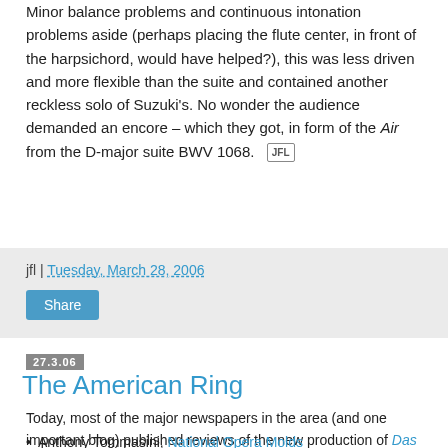Minor balance problems and continuous intonation problems aside (perhaps placing the flute center, in front of the harpsichord, would have helped?), this was less driven and more flexible than the suite and contained another reckless solo of Suzuki's. No wonder the audience demanded an encore – which they got, in form of the Air from the D-major suite BWV 1068. [JFL]
jfl | Tuesday, March 28, 2006
Share
27.3.06
The American Ring
Today, most of the major newspapers in the area (and one important blog) published reviews of the new production of Das Rheingold from Washington National Opera.
Anthony Tommasini, National Opera Molds Wagner to [Fit American Myth] (New York...)